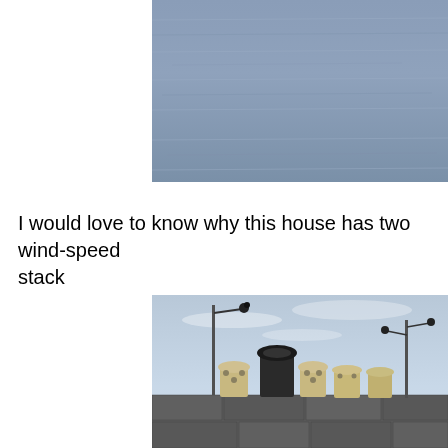[Figure (photo): Photograph of a body of water (sea or bay) with a slightly textured, blue-grey surface, cropped at the top of the page.]
I would love to know why this house has two wind-speed stack
[Figure (photo): Photograph of chimney pots and wind speed anemometers mounted on poles on top of a stone brick building, taken from below against a light blue cloudy sky.]